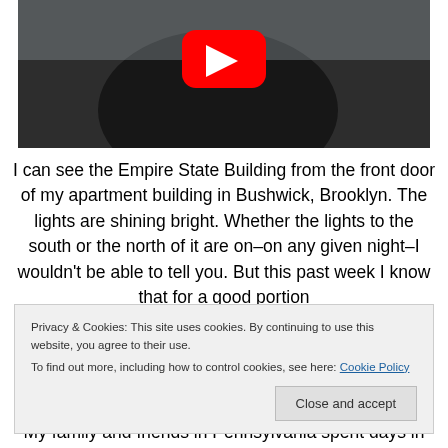[Figure (screenshot): YouTube video thumbnail showing a person outdoors near water with a YouTube play button overlay]
I can see the Empire State Building from the front door of my apartment building in Bushwick, Brooklyn. The lights are shining bright. Whether the lights to the south or the north of it are on–on any given night–I wouldn't be able to tell you. But this past week I know that for a good portion
Privacy & Cookies: This site uses cookies. By continuing to use this website, you agree to their use.
To find out more, including how to control cookies, see here: Cookie Policy
My family and friends in Pennsylvania spent days in